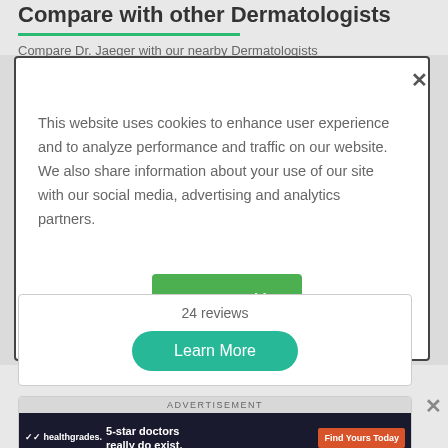Compare with other Dermatologists
Compare Dr. Jaeger with our nearby Dermatologists
This website uses cookies to enhance user experience and to analyze performance and traffic on our website. We also share information about your use of our site with our social media, advertising and analytics partners.
Accept Cookies
24 reviews
Learn More
ADVERTISEMENT
[Figure (screenshot): Healthgrades advertisement banner: '5-star doctors really do exist.' with Find Yours Today CTA button]